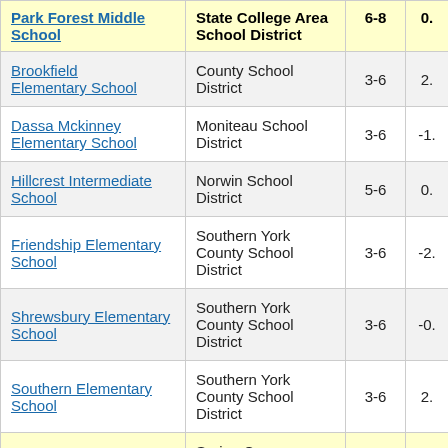| School Name | District | Grades | Value |
| --- | --- | --- | --- |
| Park Forest Middle School | State College Area School District | 6-8 | 0. |
| [Brookfield] Elementary School | County School District | 3-6 | 2. |
| Dassa Mckinney Elementary School | Moniteau School District | 3-6 | -1. |
| Hillcrest Intermediate School | Norwin School District | 5-6 | 0. |
| Friendship Elementary School | Southern York County School District | 3-6 | -2. |
| Shrewsbury Elementary School | Southern York County School District | 3-6 | -0. |
| Southern Elementary School | Southern York County School District | 3-6 | 2. |
| [partial row] | Spring C... |  |  |